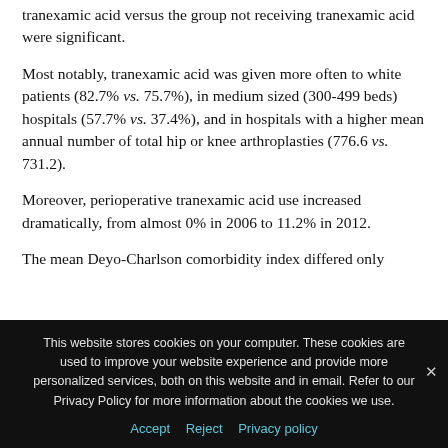tranexamic acid versus the group not receiving tranexamic acid were significant.
Most notably, tranexamic acid was given more often to white patients (82.7% vs. 75.7%), in medium sized (300-499 beds) hospitals (57.7% vs. 37.4%), and in hospitals with a higher mean annual number of total hip or knee arthroplasties (776.6 vs. 731.2).
Moreover, perioperative tranexamic acid use increased dramatically, from almost 0% in 2006 to 11.2% in 2012.
The mean Deyo-Charlson comorbidity index differed only
This website stores cookies on your computer. These cookies are used to improve your website experience and provide more personalized services, both on this website and in email. Refer to our Privacy Policy for more information about the cookies we use.
Accept   Reject   Privacy policy